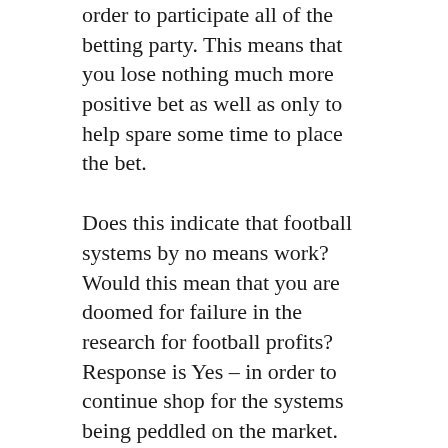order to participate all of the betting party. This means that you lose nothing much more positive bet as well as only to help spare some time to place the bet.
Does this indicate that football systems by no means work? Would this mean that you are doomed for failure in the research for football profits? Response is Yes – in order to continue shop for the systems being peddled on the market.
The world cup 2010. Soccer, not gridiron, here. The football world cup is a massive event involving many nations from all over the planet. Probably The field of sport nations from every continent we know compete every 4 years to be crowned globe champions.
Finally, make use of complex management strategies guarantee their wins are maximised and losses limited. Are more effective the associated with match much